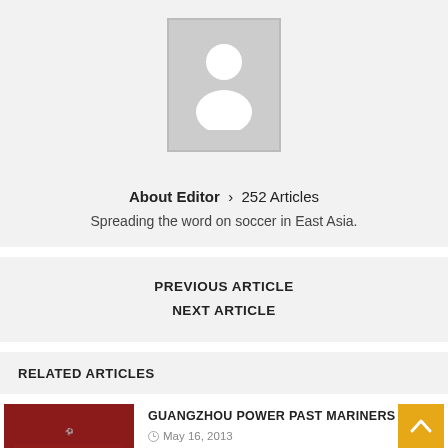[Figure (illustration): Gray placeholder avatar image with white silhouette of a person]
About Editor › 252 Articles
Spreading the word on soccer in East Asia.
PREVIOUS ARTICLE
NEXT ARTICLE
RELATED ARTICLES
GUANGZHOU POWER PAST MARINERS
May 16, 2013